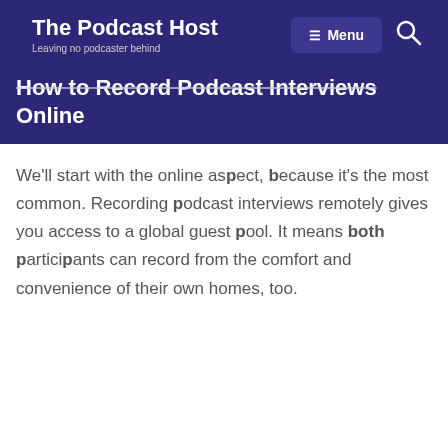The Podcast Host — Leaving no podcaster behind
How to Record Podcast Interviews Online
We'll start with the online aspect, because it's the most common. Recording podcast interviews remotely gives you access to a global guest pool. It means both participants can record from the comfort and convenience of their own homes, too.